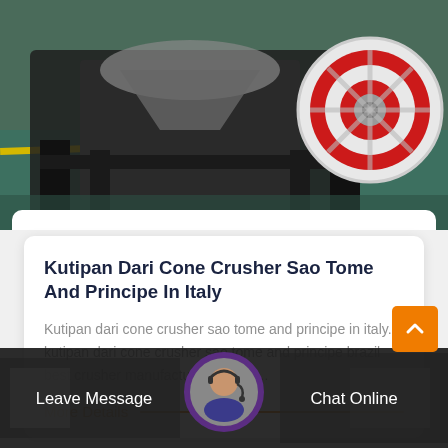[Figure (photo): Industrial cone crusher machine on the factory floor, large red and white flywheel visible on the right, yellow line on teal floor, black metal frame structure]
Kutipan Dari Cone Crusher Sao Tome And Principe In Italy
Kutipan dari cone crusher sao tome and principe in italy. kutipan dari cone crusher sao tome and principe brazil best crusher manufacturingpanies…
More Details
[Figure (photo): Bottom bar with industrial background image, customer service agent avatar in circle, Leave Message button on left, Chat Online button on right, orange back-to-top arrow button]